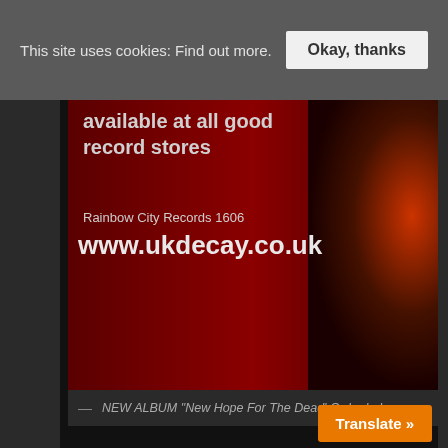This site uses cookies: Find out more.
Okay, thanks
[Figure (illustration): Banner for UK Decay band website showing dark red background with silhouette figure. Text reads 'available at all good record stores', 'Rainbow City Records 1606', 'www.ukdecay.co.uk']
— NEW ALBUM "New Hope For The Dead' Order below...
CATEGORIES
Live
Media
News
Press
Store
Topical
Uncategorized
viewpoint
Translate »